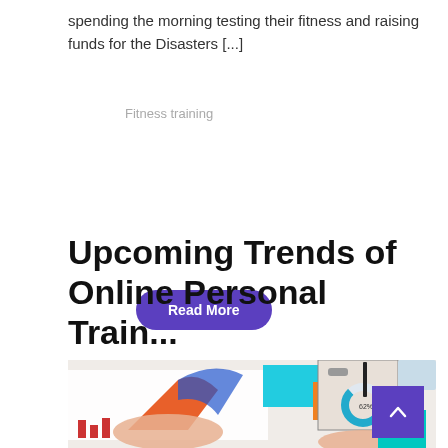spending the morning testing their fitness and raising funds for the Disasters [...]
Fitness training
Read More
Upcoming Trends of Online Personal Train...
[Figure (photo): Overhead view of two people pointing at business charts and colorful sticky notes on a table, with a clipboard and donut chart visible]